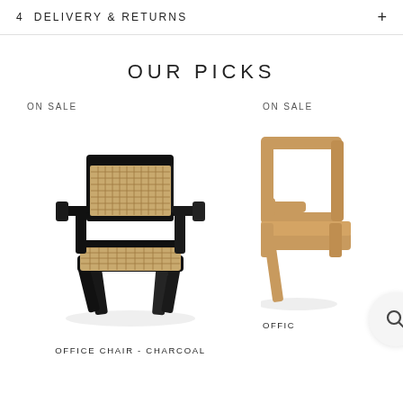4  DELIVERY & RETURNS
OUR PICKS
ON SALE
[Figure (photo): Black office chair with cane rattan back and seat, angular wooden legs and armrests — Chandigarh style]
OFFICE CHAIR - CHARCOAL
ON SALE
[Figure (photo): Natural wood office chair, partially visible at right edge of page]
OFFIC